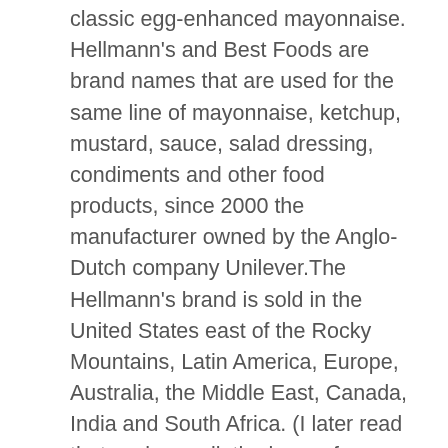classic egg-enhanced mayonnaise. Hellmann's and Best Foods are brand names that are used for the same line of mayonnaise, ketchup, mustard, sauce, salad dressing, condiments and other food products, since 2000 the manufacturer owned by the Anglo-Dutch company Unilever.The Hellmann's brand is sold in the United States east of the Rocky Mountains, Latin America, Europe, Australia, the Middle East, Canada, India and South Africa. (I later read that soybean oil, the base of Spectrum's mayo as well as several other brands, is commonly used as a binder, along with flaxseed oil and tung seed oil, in paints because it repels water and dries quickly, a factor that may influence why mayo dries to a firm shellac when left exposed to air for too long.) And I have been loving mayo since I was a kid. I just want a delicious vegan mayo and am frustrated and disappointed that I can't find a great tasting